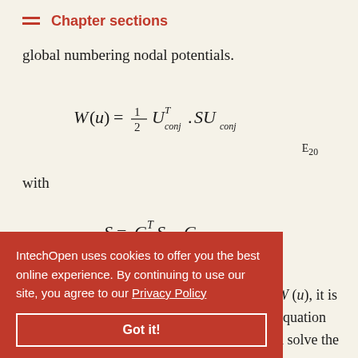Chapter sections
global numbering nodal potentials.
E20
with
W(u), it is equation (21), with respect to potential vector and solve the